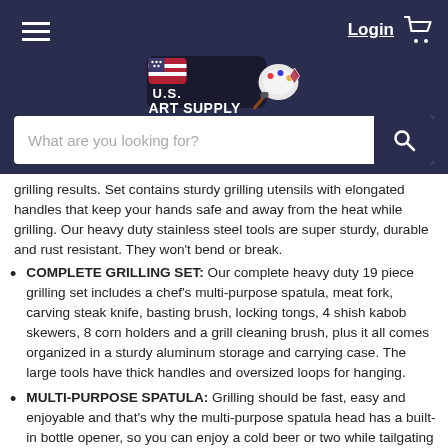U.S. Art Supply website header with hamburger menu, Login link, cart icon, logo, and search bar
grilling results. Set contains sturdy grilling utensils with elongated handles that keep your hands safe and away from the heat while grilling. Our heavy duty stainless steel tools are super sturdy, durable and rust resistant. They won't bend or break.
COMPLETE GRILLING SET: Our complete heavy duty 19 piece grilling set includes a chef's multi-purpose spatula, meat fork, carving steak knife, basting brush, locking tongs, 4 shish kabob skewers, 8 corn holders and a grill cleaning brush, plus it all comes organized in a sturdy aluminum storage and carrying case. The large tools have thick handles and oversized loops for hanging.
MULTI-PURPOSE SPATULA: Grilling should be fast, easy and enjoyable and that's why the multi-purpose spatula head has a built-in bottle opener, so you can enjoy a cold beer or two while tailgating or for chillin when grillin at a backyard party. The spatula also contains a very sharp steak knife like serrated cutting edge